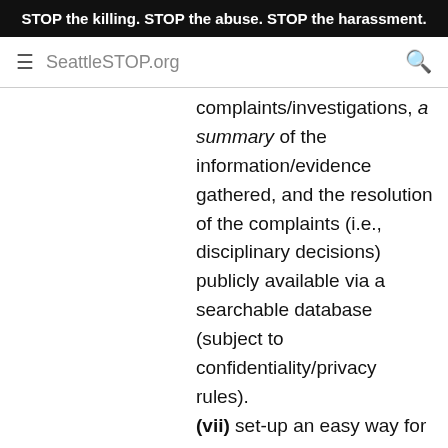STOP the killing. STOP the abuse. STOP the harassment.
SeattleSTOP.org
complaints/investigations, a summary of the information/evidence gathered, and the resolution of the complaints (i.e., disciplinary decisions) publicly available via a searchable database (subject to confidentiality/privacy rules). (vii) set-up an easy way for the public to submit complaints, confidentially if requested by the complainant, via email, web interface, postal mail, in person,